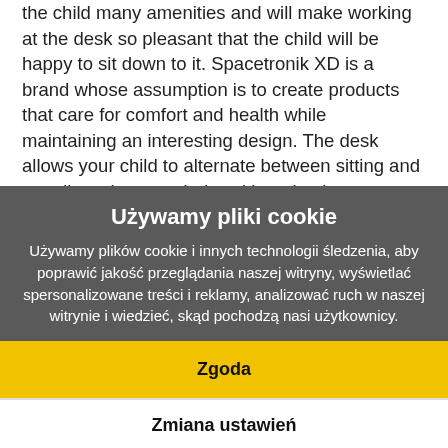the child many amenities and will make working at the desk so pleasant that the child will be happy to sit down to it. Spacetronik XD is a brand whose assumption is to create products that care for comfort and health while maintaining an interesting design. The desk allows your child to alternate between sitting and standing when needed – without having to manually raise or lower. The easy-to-use touch panel allows you to raise the desk height from 550 mm for small children to 890 mm with just one finger. (The vertical shelf visible in the illustrative photos is not included in the set – sold separately).
Używamy pliki cookie
Używamy plików cookie i innych technologii śledzenia, aby poprawić jakość przeglądania naszej witryny, wyświetlać spersonalizowane treści i reklamy, analizować ruch w naszej witrynie i wiedzieć, skąd pochodzą nasi użytkownicy.
Zgoda
Zmiana ustawień